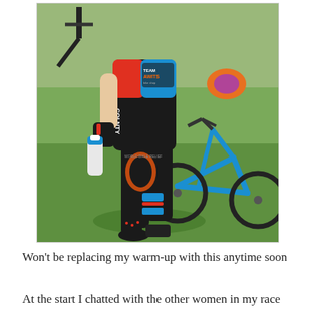[Figure (photo): A cyclist in a colorful team kit (blue, red, black) holding a water bottle, standing next to a blue mountain bike on grass. The jersey shows logos including 'Team Awesome' and 'World Bicycle Relief'. The cyclist is wearing black bib shorts and cycling gloves.]
Won't be replacing my warm-up with this anytime soon
At the start I chatted with the other women in my race